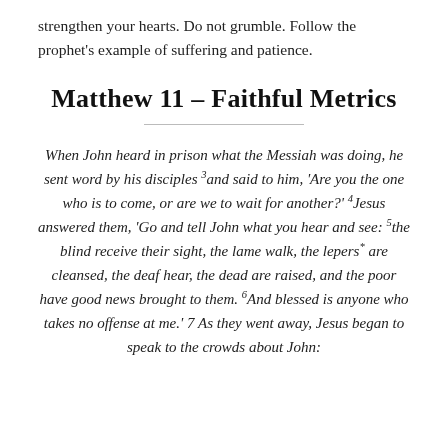strengthen your hearts. Do not grumble. Follow the prophet’s example of suffering and patience.
Matthew 11 – Faithful Metrics
When John heard in prison what the Messiah was doing, he sent word by his disciples 3and said to him, ‘Are you the one who is to come, or are we to wait for another?’ 4Jesus answered them, ‘Go and tell John what you hear and see: 5the blind receive their sight, the lame walk, the lepers* are cleansed, the deaf hear, the dead are raised, and the poor have good news brought to them. 6And blessed is anyone who takes no offense at me.’ 7 As they went away, Jesus began to speak to the crowds about John: